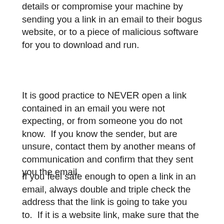details or compromise your machine by sending you a link in an email to their bogus website, or to a piece of malicious software for you to download and run.
It is good practice to NEVER open a link contained in an email you were not expecting, or from someone you do not know.  If you know the sender, but are unsure, contact them by another means of communication and confirm that they sent you the email.
If you feel safe enough to open a link in an email, always double and triple check the address that the link is going to take you to.  If it is a website link, make sure that the padlock icon is present in